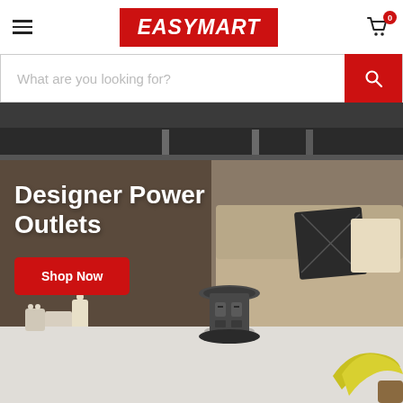EASYMART
What are you looking for?
[Figure (photo): Dark background with furniture/table legs visible at the top]
[Figure (photo): Designer bedroom banner showing a pop-up power outlet on a white counter, with a sofa and decorative pillows in the background, yellow bananas on the right]
Designer Power Outlets
Shop Now